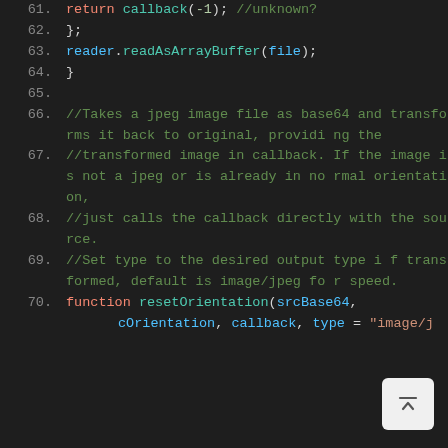Code screenshot showing JavaScript lines 61-70 with syntax highlighting on dark background. Lines include: return callback(-1); //unknown?, }; reader.readAsArrayBuffer(file); } (blank) //Takes a jpeg image file as base64 and transforms it back to original, providing the //transformed image in callback. If the image is not a jpeg or is already in normal orientation, //just calls the callback directly with the source. //Set type to the desired output type if transformed, default is image/jpeg for speed. function resetOrientation(srcBase64, cOrientation, callback, type = "image/j